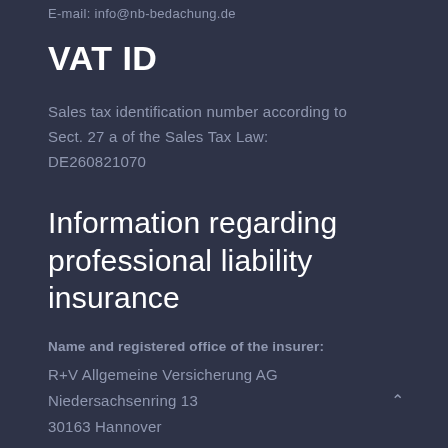E-mail: info@nb-bedachung.de
VAT ID
Sales tax identification number according to Sect. 27 a of the Sales Tax Law: DE260821070
Information regarding professional liability insurance
Name and registered office of the insurer:
R+V Allgemeine Versicherung AG
Niedersachsenring 13
30163 Hannover